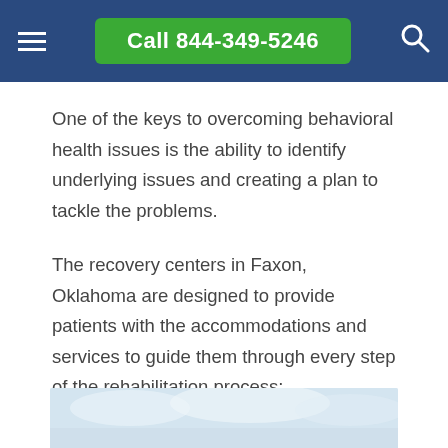Call 844-349-5246
One of the keys to overcoming behavioral health issues is the ability to identify underlying issues and creating a plan to tackle the problems.
The recovery centers in Faxon, Oklahoma are designed to provide patients with the accommodations and services to guide them through every step of the rehabilitation process:
[Figure (photo): A light blue sky photo strip at the bottom of the page, partially visible]